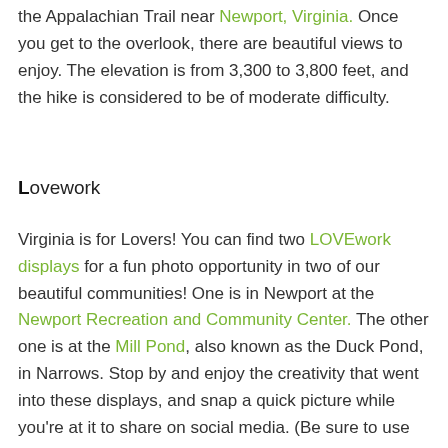the Appalachian Trail near Newport, Virginia. Once you get to the overlook, there are beautiful views to enjoy. The elevation is from 3,300 to 3,800 feet, and the hike is considered to be of moderate difficulty.
Lovework
Virginia is for Lovers! You can find two LOVEwork displays for a fun photo opportunity in two of our beautiful communities! One is in Newport at the Newport Recreation and Community Center. The other one is at the Mill Pond, also known as the Duck Pond, in Narrows. Stop by and enjoy the creativity that went into these displays, and snap a quick picture while you're at it to share on social media. (Be sure to use #GilesCoVA & #LoveVA)